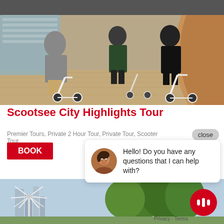[Figure (photo): People with electric scooters under a covered outdoor area, modern architecture with wooden curved wall and glass building in background]
Scootsee City Highlights Tour
Premier Tours, Private 2 Hour Tour, Private Tour, Scooter Tour
close
BOOK
Hello! Do you have any questions that I can help with?
[Figure (photo): Outdoor city scene with large white windmill sculpture, trees, and city buildings in background]